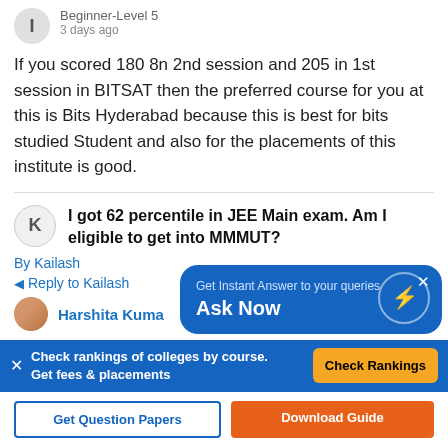Beginner-Level 5
3 days ago
If you scored 180 8n 2nd session and 205 in 1st session in BITSAT then the preferred course for you at this is Bits Hyderabad because this is best for bits studied Student and also for the placements of this institute is good.
I got 62 percentile in JEE Main exam. Am I eligible to get into MMMUT?
By Kailash
Reply to Kailash
Harshita Kuma
[Figure (infographic): Blue floating popup box with text: Get Instant Answer to your queries, Ask Now, with a lightning bolt icon]
Check rankings of colleges by course. Get fees & placements
Check Rankings
Get Question Papers
Download Guide